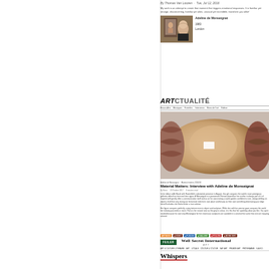By Thomas Van Loozen · Tue, Jul 12, 2016
My work is an attempt to create that moment that triggers emotional responses. It is familiar yet strange, disconcerting, familiar yet alien, unusual yet incredible, transform you alike!
[Figure (photo): Portrait photo of Adeline de Monseignat standing in front of artwork]
Adeline de Monseignat
1983
London
[Figure (logo): ARTCTUALITE logo]
[Figure (photo): Sculptural artwork - rolled/wrapped form with skin-like texture]
Material Matters: Interview with Adeline de Monseignat
Material Matters: Interview with Adeline de Monseignat
By [author] · [date] · [category]
In her debut at Art Basel with Rosenfeld's substantial presence in August, this girl conquers the world's most prestigious galleries debut has time and time again...
Her figure conquers perfectly, using texture even in object and sculpture. While she with her precise gaze conquers the well her industry proceeds in move. Paris is her natural seat as the grey in colour, it is this that her sparkling allow you like...
[Figure (logo): Well Secret International Art logo with FEILER brand and navigation]
Whispers